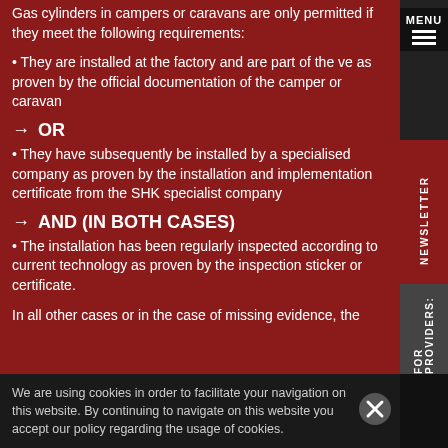Gas cylinders in campers or caravans are only permitted if they meet the following requirements:
• They are installed at the factory and are part of the ve as proven by the official documentation of the camper or caravan
→ OR
• They have subsequently be installed by a specialised company as proven by the installation and implementation certificate from the SHK specialist company
→ AND (IN BOTH CASES)
• The installation has been regularly inspected according to current technology as proven by the inspection sticker or certificate.
In all other cases or in the case of missing evidence, the
We are using cookies in order to facilitate your navigation on this website. By continuing to navigate on this website you accept our policy regarding the usage of cookies.